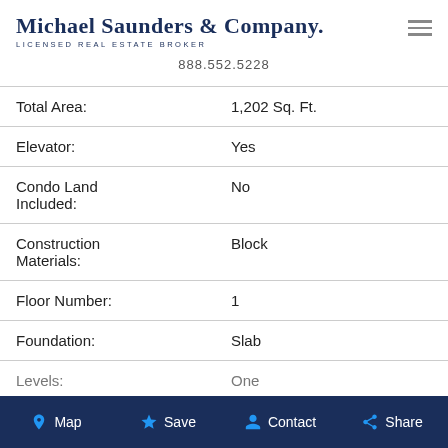Michael Saunders & Company. LICENSED REAL ESTATE BROKER 888.552.5228
| Field | Value |
| --- | --- |
| Total Area: | 1,202 Sq. Ft. |
| Elevator: | Yes |
| Condo Land Included: | No |
| Construction Materials: | Block |
| Floor Number: | 1 |
| Foundation: | Slab |
| Levels: | One |
Map  Save  Contact  Share